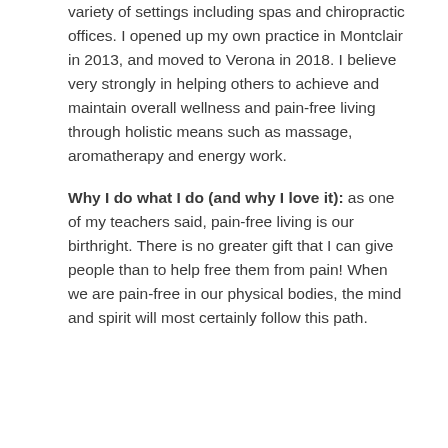variety of settings including spas and chiropractic offices.  I opened up my own practice in Montclair in 2013, and moved to Verona in 2018.  I believe very strongly in helping others to achieve and maintain overall wellness and pain-free living through holistic means such as massage, aromatherapy and energy work.
Why I do what I do (and why I love it): as one of my teachers said, pain-free living is our birthright.  There is no greater gift that I can give people than to help free them from pain!  When we are pain-free in our physical bodies, the mind and spirit will most certainly follow this path.